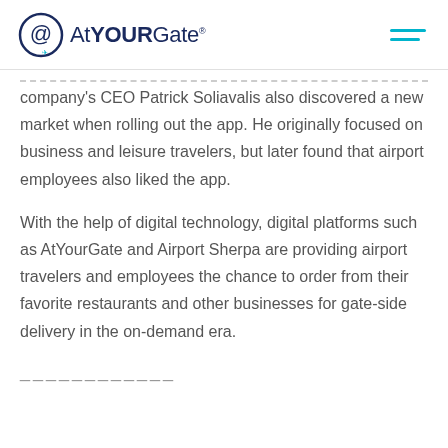AtYOURGate
company's CEO Patrick Soliavalis also discovered a new market when rolling out the app. He originally focused on business and leisure travelers, but later found that airport employees also liked the app.
With the help of digital technology, digital platforms such as AtYourGate and Airport Sherpa are providing airport travelers and employees the chance to order from their favorite restaurants and other businesses for gate-side delivery in the on-demand era.
____________